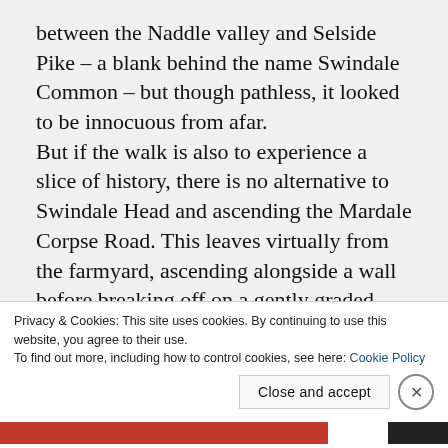between the Naddle valley and Selside Pike – a blank behind the name Swindale Common – but though pathless, it looked to be innocuous from afar.
But if the walk is also to experience a slice of history, there is no alternative to Swindale Head and ascending the Mardale Corpse Road. This leaves virtually from the farmyard, ascending alongside a wall before breaking off on a gently graded straight angle across the fellside that provides little excuse for stopping and looking back into Swindale, but do that often anyway.
Privacy & Cookies: This site uses cookies. By continuing to use this website, you agree to their use.
To find out more, including how to control cookies, see here: Cookie Policy
Close and accept